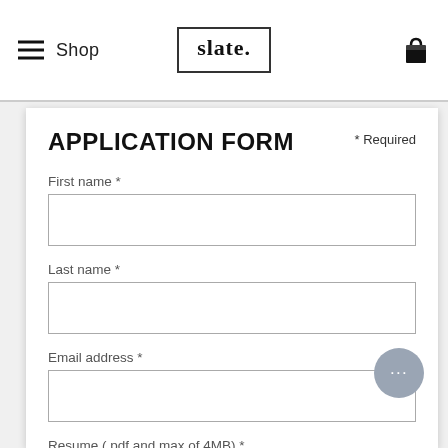Shop  slate.
APPLICATION FORM
* Required
First name *
Last name *
Email address *
Resume (.pdf and max of 4MB) *